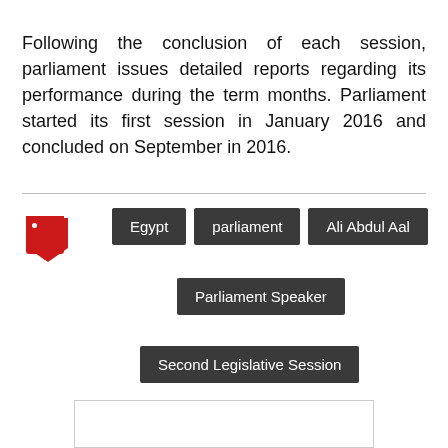Following the conclusion of each session, parliament issues detailed reports regarding its performance during the term months. Parliament started its first session in January 2016 and concluded on September in 2016.
[Figure (other): Red tag/label icon followed by dark grey tag buttons: Egypt, parliament, Ali Abdul Aal, Parliament Speaker, Second Legislative Session]
[Figure (photo): Partially visible image box at the bottom of the page]